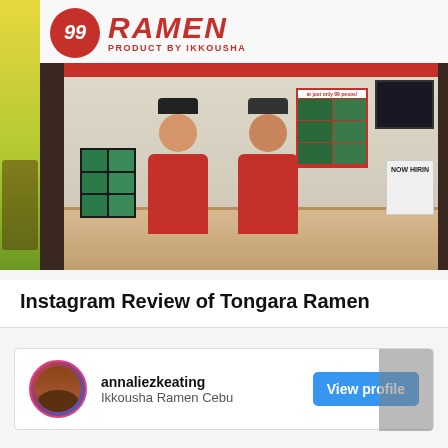[Figure (photo): Photo of a 99 Ramen (Ikkousha) restaurant stall with two female staff members in red uniforms standing behind a counter, making peace signs. The storefront signage reads 'RAMEN PRODUCT BY IKKOUSHA' with a 99 logo. A menu board and 'NOW HIRING' sign are visible in the background.]
Instagram Review of Tongara Ramen
annaliezkeating
Ikkousha Ramen Cebu